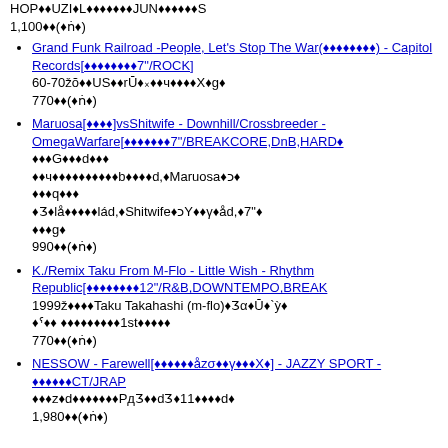HOP♦♦UZI♦L♦♦♦♦♦♦♦JUN♦♦♦♦♦♦S 1,100♦♦(♦ṅ♦)
Grand Funk Railroad -People, Let's Stop The War(♦♦♦♦♦♦♦♦) - Capitol Records[♦♦♦♦♦♦♦♦7"/ROCK] 60-70žŏ♦♦US♦♦rŪ♦ₓ♦♦ч♦♦♦♦X♦g♦ 770♦♦(♦ṅ♦)
Maruosa[♦♦♦♦]vsShitwife - Downhill/Crossbreeder - OmegaWarfare[♦♦♦♦♦♦♦7"/BREAKCORE,DnB,HARD♦ ♦♦♦G♦♦♦d♦♦ ♦♦ч♦♦♦♦♦♦♦♦♦♦b♦♦♦♦d,♦Maruosa♦ɔ♦ ♦♦♦q♦♦♦ ♦Ʒ♦lå♦♦♦♦♦lád,♦Shitwife♦ɔY♦♦γ♦åd,♦7"♦ ♦♦♦g♦ 990♦♦(♦ṅ♦)
K./Remix Taku From M-Flo - Little Wish - Rhythm Republic[♦♦♦♦♦♦♦♦12"/R&B,DOWNTEMPO,BREAK 1999ž♦♦♦♦Taku Takahashi (m-flo)♦Ʒα♦Ū♦`ỳ♦ ♦ˁ♦♦ ♦♦♦♦♦♦♦♦♦1st♦♦♦♦♦ 770♦♦(♦ṅ♦)
NESSOW - Farewell[♦♦♦♦♦♦åzσ♦♦γ♦♦♦X♦] - JAZZY SPORT - ♦♦♦♦♦♦CT/JRAP ♦♦♦z♦d♦♦♦♦♦♦♦PдƷ♦♦dƷ♦11♦♦♦♦d♦ 1,980♦♦(♦ṅ♦)